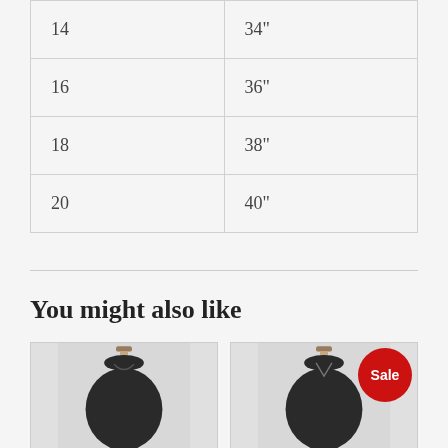| 14 | 34" |
| 16 | 36" |
| 18 | 38" |
| 20 | 40" |
You might also like
[Figure (photo): Product photo of a dark dress on a mannequin]
[Figure (photo): Product photo of a dark dress on a mannequin with a red Sale badge]